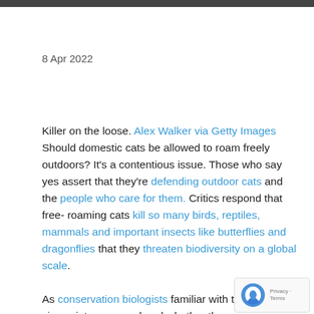8 Apr 2022
Killer on the loose. Alex Walker via Getty Images Should domestic cats be allowed to roam freely outdoors? It’s a contentious issue. Those who say yes assert that they’re defending outdoor cats and the people who care for them. Critics respond that free-roaming cats kill so many birds, reptiles, mammals and important insects like butterflies and dragonflies that they threaten biodiversity on a global scale.

As conservation biologists familiar with these clashing viewpoints, we wondered whether there was room a more nuanced strategy than the typical yes/no